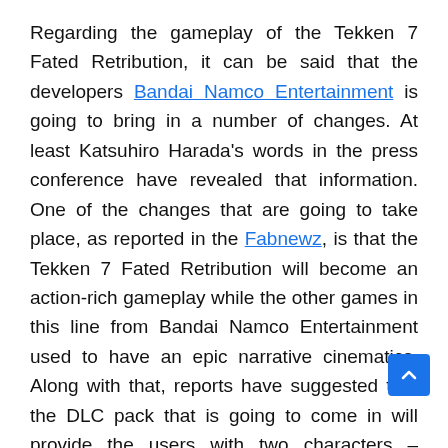Regarding the gameplay of the Tekken 7 Fated Retribution, it can be said that the developers Bandai Namco Entertainment is going to bring in a number of changes. At least Katsuhiro Harada's words in the press conference have revealed that information. One of the changes that are going to take place, as reported in the Fabnewz, is that the Tekken 7 Fated Retribution will become an action-rich gameplay while the other games in this line from Bandai Namco Entertainment used to have an epic narrative cinematics. Along with that, reports have suggested that the DLC pack that is going to come in will provide the users with two characters – Miguel and Lei Wulong.
So it sounds really exciting for the gamers across the world who have been waiting for a long time regarding news and updates about the game Tekken 7 Fated